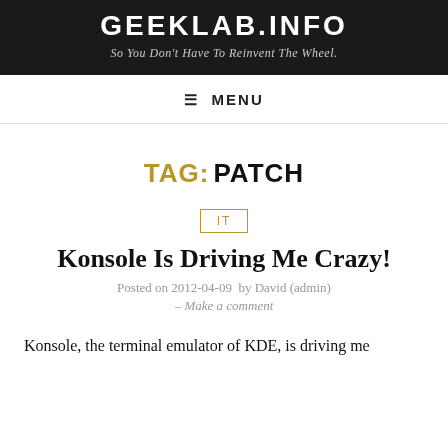GEEKLAB.INFO
So You Don't Have To Reinvent The Wheel.
☰ MENU
TAG: PATCH
IT
Konsole Is Driving Me Crazy!
Posted on 2012-04-09  by David (admin)
– Make a comment
Konsole, the terminal emulator of KDE, is driving me